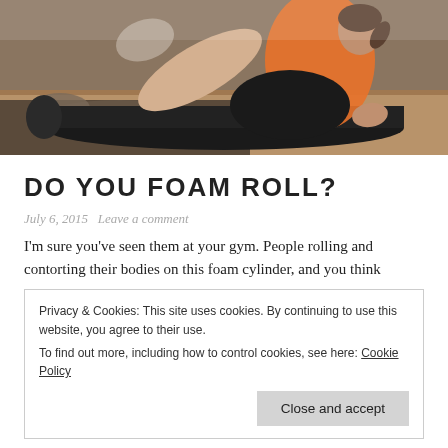[Figure (photo): A woman in an orange tank top and black shorts doing foam rolling exercise on a black foam roller in a gym. Another person is visible lying on a mat in the background.]
DO YOU FOAM ROLL?
July 6, 2015   Leave a comment
I'm sure you've seen them at your gym. People rolling and contorting their bodies on this foam cylinder, and you think
Privacy & Cookies: This site uses cookies. By continuing to use this website, you agree to their use.
To find out more, including how to control cookies, see here: Cookie Policy
Close and accept
Self-myofascial release. It a massage technique that